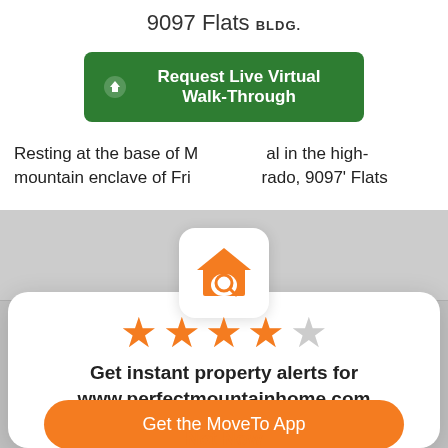9097 Flats BLDG.
Request Live Virtual Walk-Through
Resting at the base of M...yal in the high-mountain enclave of Fri...orado, 9097' Flats
[Figure (logo): Orange house with magnifying glass search icon on white rounded square background]
[Figure (other): 4 out of 5 stars rating: four orange filled stars and one gray empty star]
Get instant property alerts for www.perfectmountainhome.com
Get the MoveTo App
Not Now